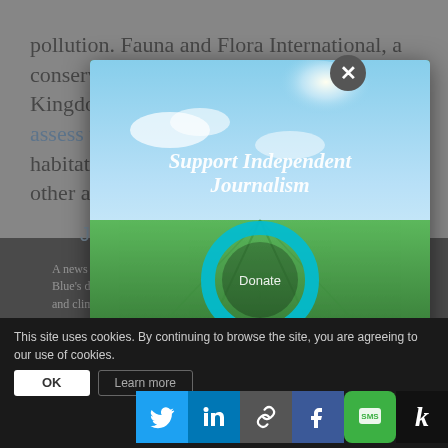pollution. Fauna and Flora International, a conservation group based in the United Kingdom, is also under fire for agreeing to assess the environmental value of wildlife habitat near the site, as well as determine if other areas of equal value exist in
[Figure (screenshot): Modal popup with scenic green field and sky background, showing 'Support Independent Journalism' text in italic white, a circular teal donate button, and a close (X) button]
You have the power to inform
Jodi Kozacek
A news correspondent based out of Hawaii. She writes Circle of Blue's daily digest of international water news to include food, energy, and climate.
This site uses cookies. By continuing to browse the site, you are agreeing to our use of cookies.
OK
Learn more
[Figure (screenshot): Social sharing icons bar: Twitter (blue bird), LinkedIn (blue), chain link (grey), Facebook (blue), SMS (green), Kinja (black)]